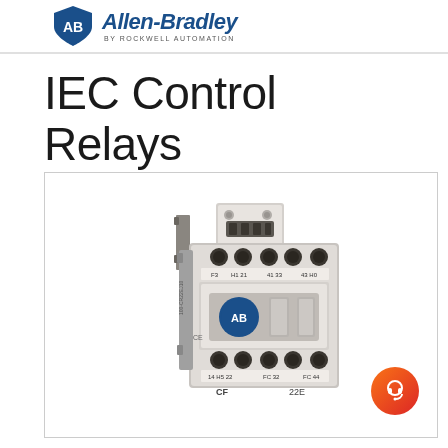Allen-Bradley by Rockwell Automation
IEC Control Relays
[Figure (photo): Allen-Bradley IEC Control Relay (model CF 22E) — a white/grey industrial control relay with multiple terminal connections, screw contacts, and an Allen-Bradley logo badge, mounted on a DIN rail]
[Figure (other): Orange/red gradient circular chat/headset support button in the bottom-right corner]